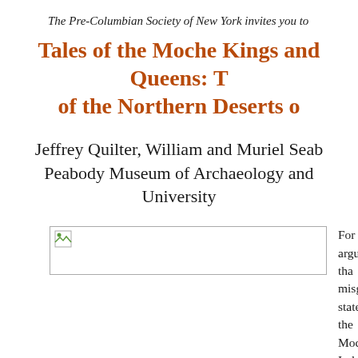The Pre-Columbian Society of New York invites you to
Tales of the Moche Kings and Queens: of the Northern Deserts
Jeffrey Quilter, William and Muriel Seab Peabody Museum of Archaeology and University
[Figure (photo): Image placeholder with broken image icon]
For some argued tha misguided state” and the Moche Indeed, he